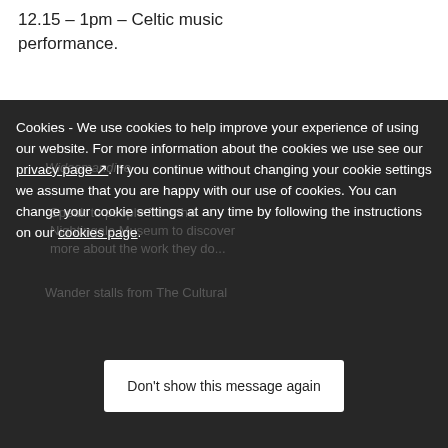12.15 – 1pm – Celtic music performance.
Cookies - We use cookies to help improve your experience of using our website. For more information about the cookies we use see our privacy page. If you continue without changing your cookie settings we assume that you are happy with our use of cookies. You can change your cookie settings at any time by following the instructions on our cookies page.
Don't show this message again